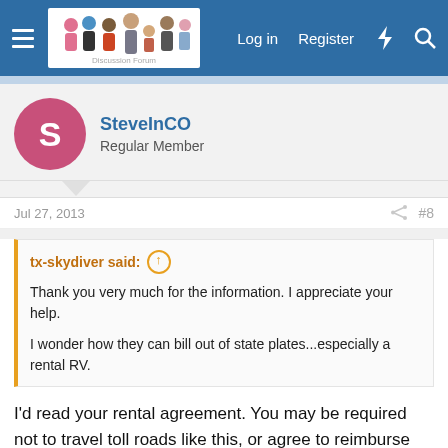Forum navigation bar with hamburger menu, logo, Log in, Register, and search icons
SteveInCO
Regular Member
Jul 27, 2013   #8
tx-skydiver said:
Thank you very much for the information. I appreciate your help.
I wonder how they can bill out of state plates...especially a rental RV.
I'd read your rental agreement. You may be required not to travel toll roads like this, or agree to reimburse them for the bill when they get it (the rental place wouldn't be too happy getting the bill). Other than that I have no idea how it would be handled.
If you do have to avoid C-470 then you get to travel through Denver on I-70, then I-270 to I-25. If you avoid rush hour, traffic